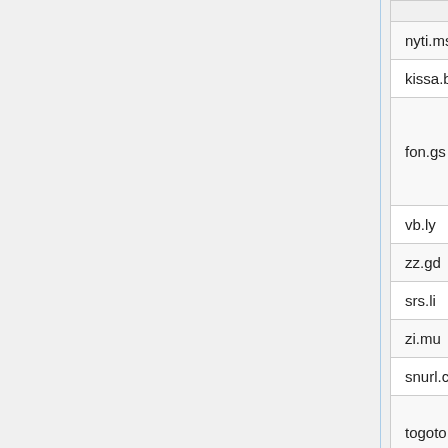| URL | Country |
| --- | --- |
| nyti.ms | Montserrat |
| kissa.be | Belgium |
| fon.gs | South Georgia and the South Sandwich Islands |
| vb.ly | Libya |
| zz.gd | Grenada |
| srs.li | Liechtenstein |
| zi.mu | Mauritius |
| snurl.com | None |
| togoto.us | United States of America |
| ar.gy | Guyana |
| zi.ma | Morocco |